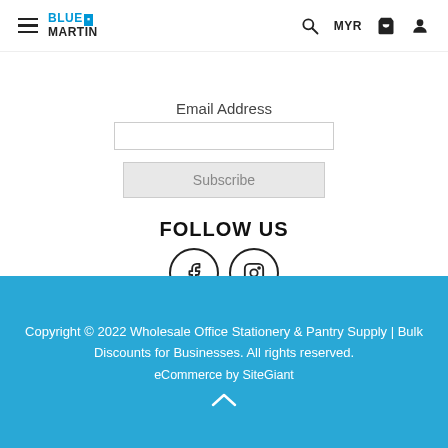Blue Martin | MYR | Search | Cart | Account
Email Address
Subscribe
FOLLOW US
[Figure (illustration): Facebook and Instagram social media icon circles (outline circles with f and camera icons)]
Copyright © 2022 Wholesale Office Stationery & Pantry Supply | Bulk Discounts for Businesses. All rights reserved.
eCommerce by SiteGiant